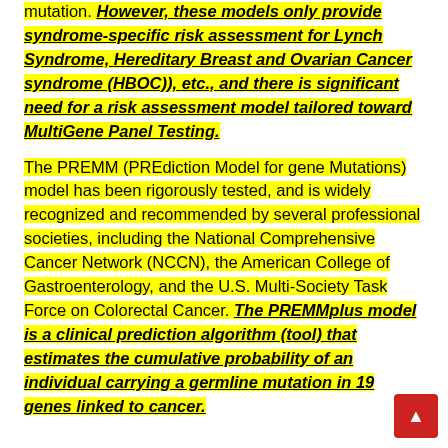mutation. However, these models only provide syndrome-specific risk assessment for Lynch Syndrome, Hereditary Breast and Ovarian Cancer syndrome (HBOC)), etc., and there is significant need for a risk assessment model tailored toward MultiGene Panel Testing. The PREMM (PREdiction Model for gene Mutations) model has been rigorously tested, and is widely recognized and recommended by several professional societies, including the National Comprehensive Cancer Network (NCCN), the American College of Gastroenterology, and the U.S. Multi-Society Task Force on Colorectal Cancer. The PREMMplus model is a clinical prediction algorithm (tool) that estimates the cumulative probability of an individual carrying a germline mutation in 19 genes linked to cancer.